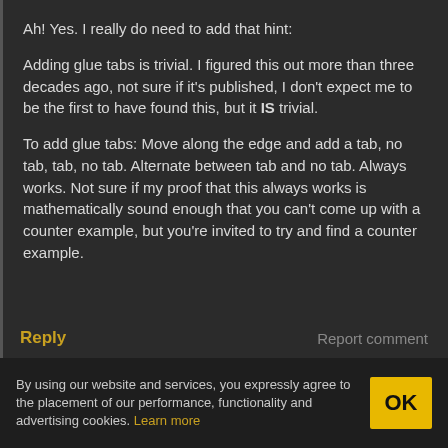Ah! Yes. I really do need to add that hint:
Adding glue tabs is trivial. I figured this out more than three decades ago, not sure if it's published, I don't expect me to be the first to have found this, but it IS trivial.
To add glue tabs: Move along the edge and add a tab, no tab, tab, no tab. Alternate between tab and no tab. Always works. Not sure if my proof that this always works is mathematically sound enough that you can't come up with a counter example, but you're invited to try and find a counter example.
Reply
Report comment
By using our website and services, you expressly agree to the placement of our performance, functionality and advertising cookies. Learn more